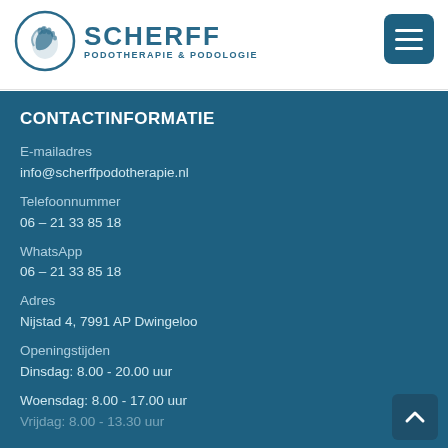[Figure (logo): Scherff Podotherapie & Podologie logo with circular foot/hand graphic and text]
CONTACTINFORMATIE
E-mailadres
info@scherffpodotherapie.nl
Telefoonnummer
06 – 21 33 85 18
WhatsApp
06 – 21 33 85 18
Adres
Nijstad 4, 7991 AP Dwingeloo
Openingstijden
Dinsdag: 8.00 - 20.00 uur
Woensdag: 8.00 - 17.00 uur
Vrijdag: 8.00 - 13.30 uur